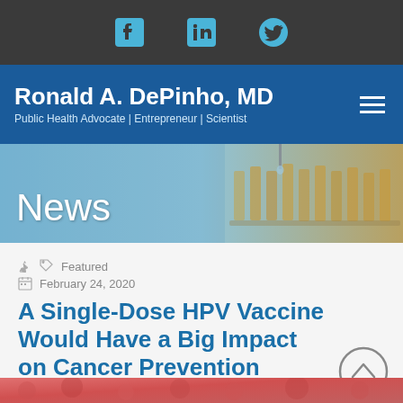Social media icons: Facebook, LinkedIn, Twitter
Ronald A. DePinho, MD
Public Health Advocate | Entrepreneur | Scientist
[Figure (photo): News banner with laboratory equipment background showing test tubes and vials]
News
Featured
February 24, 2020
A Single-Dose HPV Vaccine Would Have a Big Impact on Cancer Prevention
[Figure (photo): Partial image of biological/medical cells or tissue at the bottom of the page]